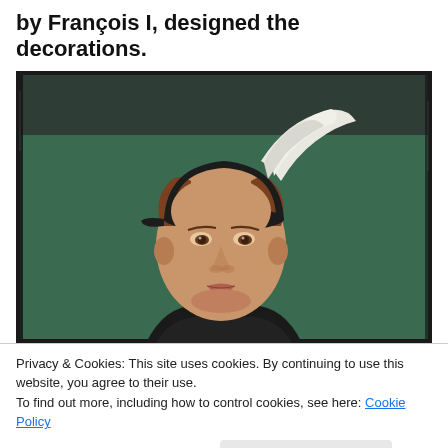by François I, designed the decorations.
[Figure (photo): Renaissance-style portrait painting of a young man wearing a dark flat-brimmed hat with a white feathered plume, set against a dark green background. The subject has pale skin, brown eyes, and wears a dark garment with a white ruffled collar.]
Privacy & Cookies: This site uses cookies. By continuing to use this website, you agree to their use.
To find out more, including how to control cookies, see here: Cookie Policy